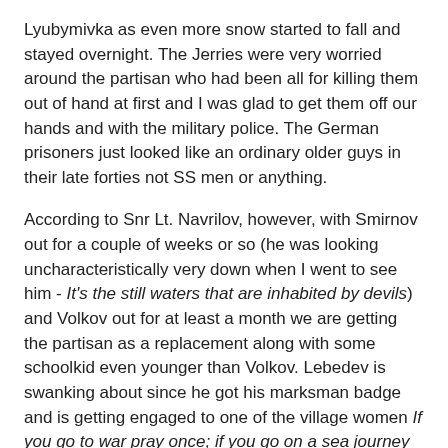Lyubymivka as even more snow started to fall and stayed overnight. The Jerries were very worried around the partisan who had been all for killing them out of hand at first and I was glad to get them off our hands and with the military police. The German prisoners just looked like an ordinary older guys in their late forties not SS men or anything.
According to Snr Lt. Navrilov, however, with Smirnov out for a couple of weeks or so (he was looking uncharacteristically very down when I went to see him - It's the still waters that are inhabited by devils) and Volkov out for at least a month we are getting the partisan as a replacement along with some schoolkid even younger than Volkov. Lebedev is swanking about since he got his marksman badge and is getting engaged to one of the village women If you go to war pray once; if you go on a sea journey pray twice; but pray three times if you are going to be married.